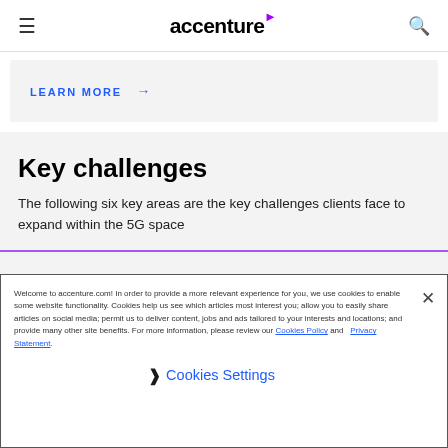accenture
LEARN MORE →
Key challenges
The following six key areas are the key challenges clients face to expand within the 5G space
Welcome to accenture.com! In order to provide a more relevant experience for you, we use cookies to enable some website functionality. Cookies help us see which articles most interest you; allow you to easily share articles on social media; permit us to deliver content, jobs and ads tailored to your interests and locations; and provide many other site benefits. For more information, please review our Cookies Policy and Privacy Statement.
❯ Cookies Settings